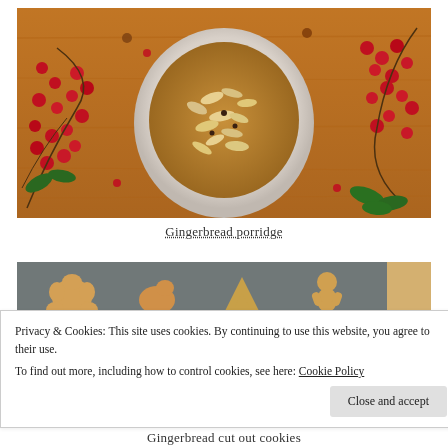[Figure (photo): Overhead photo of a bowl of gingerbread porridge topped with oats/nuts, surrounded by red berry branches and green holly on a wooden surface]
Gingerbread porridge
[Figure (photo): Baking tray with gingerbread cut-out cookies in various shapes (trees, stars, gingerbread men, animals) on a dark non-stick tray]
Privacy & Cookies: This site uses cookies. By continuing to use this website, you agree to their use.
To find out more, including how to control cookies, see here: Cookie Policy
Gingerbread cut out cookies